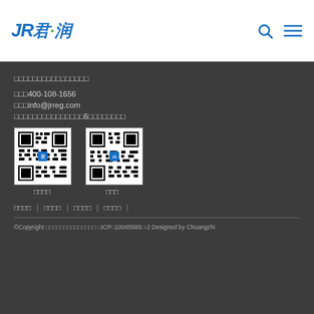JR君润 [logo with search and menu icons]
君润人力资源管理（上海）有限公司
电话：400-108-1656
邮箱：info@jrreg.com
地址：上海市虹桥区漕宝路6号汇鑫国际大厦
[Figure (other): Two QR codes side by side - left for 关注我们 (Follow us), right for 联系我们 (Contact us)]
关注我们  联系我们
关于我们 | 人事代理 | 人才招聘 | 联系我们 |
©Copyright 君润人力资源管理（上海）有限公司 沪ICP备10045565号-2 Designed by Chuangzhi